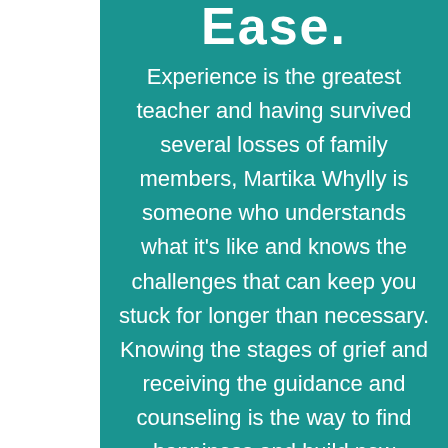Ease.
Experience is the greatest teacher and having survived several losses of family members, Martika Whylly is someone who understands what it’s like and knows the challenges that can keep you stuck for longer than necessary. Knowing the stages of grief and receiving the guidance and counseling is the way to find happiness and build new relationships.